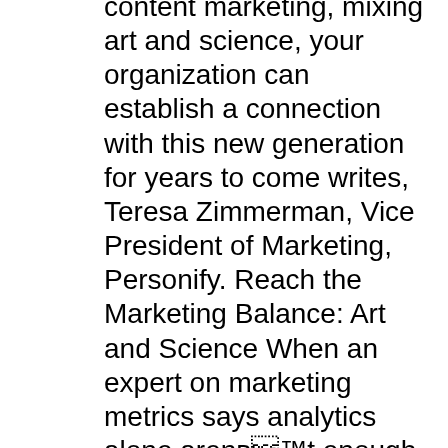content marketing, mixing art and science, your organization can establish a connection with this new generation for years to come writes, Teresa Zimmerman, Vice President of Marketing, Personify. Reach the Marketing Balance: Art and Science When an expert on marketing metrics says analytics alone arenвЂ™t enough, you take notice. Wharton@Work recently asked Dave Reibstein, co-author of Marketing Metrics: The Definitive Guide to Marketing Performance , to explain why marketing needs a combination of right and left brain involvement.
Using a right- and left-brain approach to